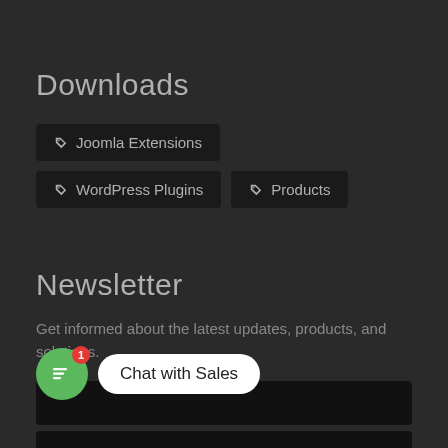Downloads
Joomla Extensions
WordPress Plugins
Products
Newsletter
Get informed about the latest updates, products, and solutions.
[Figure (screenshot): Chat with Sales widget showing a green circular chat button with a red badge showing '1', and a white speech bubble tooltip reading 'Chat with Sales']